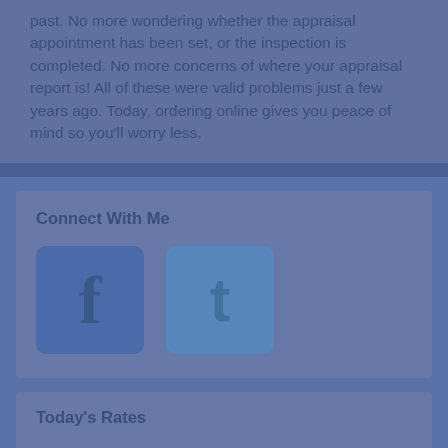past. No more wondering whether the appraisal appointment has been set, or the inspection is completed. No more concerns of where your appraisal report is! All of these were valid problems just a few years ago. Today, ordering online gives you peace of mind so you'll worry less.
Connect With Me
[Figure (illustration): Facebook and Twitter social media icons side by side]
Today's Rates
| Mtg Loan | Rate | APR |
| --- | --- | --- |
| 30-yr Fixed | 4.55% | 4.7% |